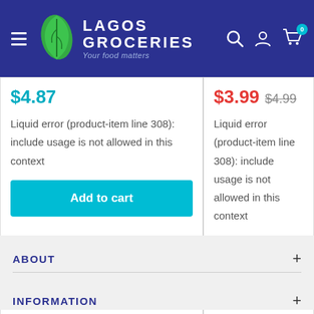[Figure (logo): Lagos Groceries logo with green leaf icon, white text 'LAGOS GROCERIES' and tagline 'Your food matters' on dark blue header bar with hamburger menu, search, user, and cart icons]
$4.87
Liquid error (product-item line 308): include usage is not allowed in this context
Add to cart
$3.99  $4.99
Liquid error (produ... 308): include usage... in this context
Add to
ABOUT
INFORMATION